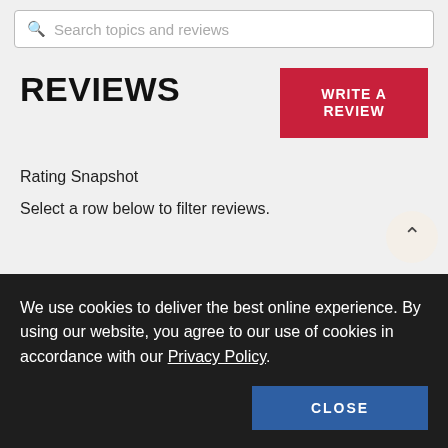Search topics and reviews
REVIEWS
WRITE A REVIEW
Rating Snapshot
Select a row below to filter reviews.
[Figure (bar-chart): Rating Snapshot]
We use cookies to deliver the best online experience. By using our website, you agree to our use of cookies in accordance with our Privacy Policy.
CLOSE